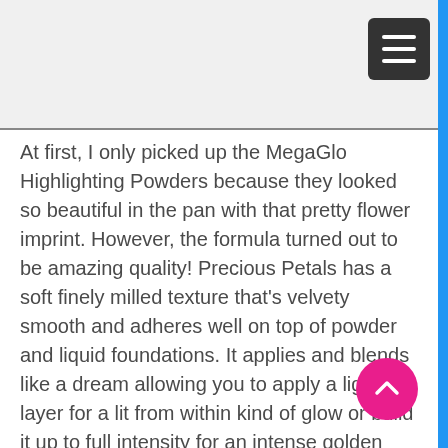At first, I only picked up the MegaGlo Highlighting Powders because they looked so beautiful in the pan with that pretty flower imprint. However, the formula turned out to be amazing quality! Precious Petals has a soft finely milled texture that’s velvety smooth and adheres well on top of powder and liquid foundations. It applies and blends like a dream allowing you to apply a light layer for a lit from within kind of glow or build it up to full intensity for an intense golden glow that doesn’t look glittery or emphasize pores much at all.
I was also very impressed with how well Precious Petals lasts too. I can apply it early in the morning and still come home 8-9 hours later with glowing golden cheeks. Precious Petals does start fade a tiny bit after 7-8 hours but not much at all. You can easily apply it before work, hit happy